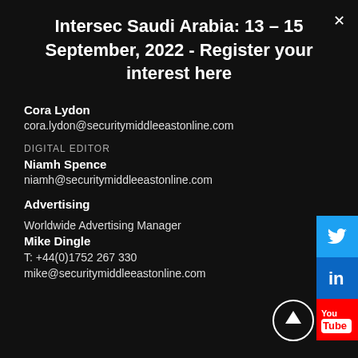Intersec Saudi Arabia: 13 – 15 September, 2022 - Register your interest here
Cora Lydon
cora.lydon@securitymiddleeastonline.com
DIGITAL EDITOR
Niamh Spence
niamh@securitymiddleeastonline.com
Advertising
Worldwide Advertising Manager
Mike Dingle
T: +44(0)1752 267 330
mike@securitymiddleeastonline.com
[Figure (logo): Twitter bird icon (white on blue background)]
[Figure (logo): LinkedIn 'in' icon (white on blue background)]
[Figure (logo): YouTube logo (white text on red background)]
[Figure (illustration): Circular scroll-to-top arrow button (white arrow on dark circle)]